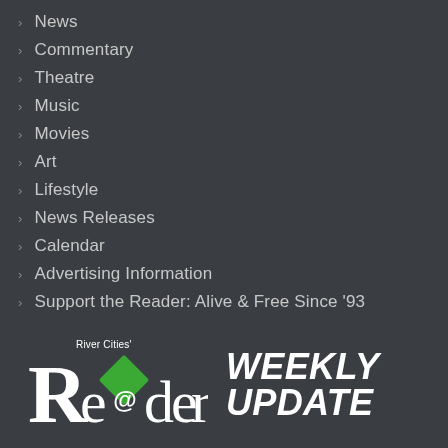News
Commentary
Theatre
Music
Movies
Art
Lifestyle
News Releases
Calendar
Advertising Information
Support the Reader: Alive & Free Since '93
[Figure (logo): River Cities' Reader logo with stylized Re@der text and green diamond on the 'a', followed by WEEKLY UPDATE in bold italic white text]